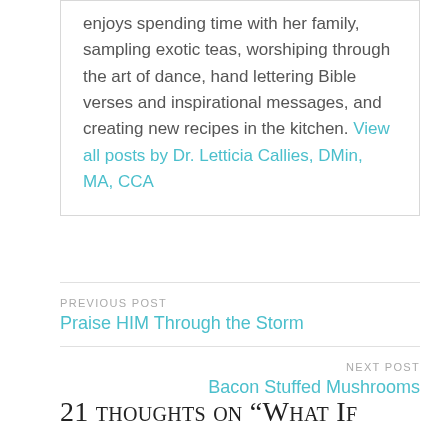enjoys spending time with her family, sampling exotic teas, worshiping through the art of dance, hand lettering Bible verses and inspirational messages, and creating new recipes in the kitchen. View all posts by Dr. Letticia Callies, DMin, MA, CCA
PREVIOUS POST
Praise HIM Through the Storm
NEXT POST
Bacon Stuffed Mushrooms
21 thoughts on “What If